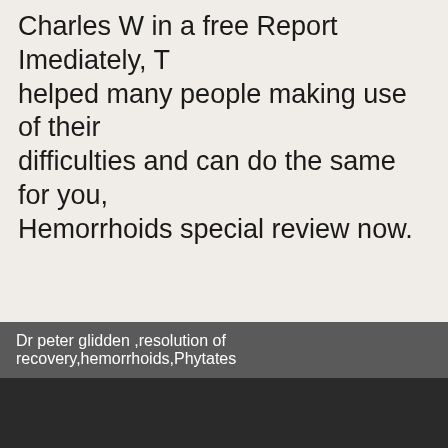Charles W in a free Report Imediately, T... helped many people making use of their difficulties and can do the same for you, Hemorrhoids special review now.
Eating corn is actually a great way in which you can help to re... your hemorrhoids.
As you may have noticed before, corn doesn't exactly break d...
What this means for you is that stools containing corn pass th... friction.
Are you sick of the itching burning pain swelling or bleeding de...
Can't you be frustrated because it's completely embarrassing... probably crippling condition?
Dr peter glidden ,resolution of recovery,hemorrhoids,Phytates
[Figure (other): Dark video player area below caption bar]